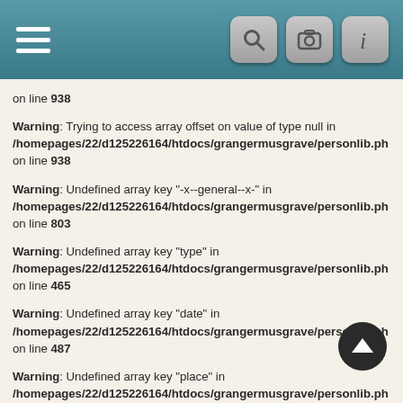[Figure (screenshot): Mobile app header bar with hamburger menu on left and three icon buttons (search, camera, info) on right]
on line 938
Warning: Trying to access array offset on value of type null in /homepages/22/d125226164/htdocs/grangermusgrave/personlib.ph on line 938
Warning: Undefined array key "-x--general--x-" in /homepages/22/d125226164/htdocs/grangermusgrave/personlib.ph on line 803
Warning: Undefined array key "type" in /homepages/22/d125226164/htdocs/grangermusgrave/personlib.ph on line 465
Warning: Undefined array key "date" in /homepages/22/d125226164/htdocs/grangermusgrave/personlib.ph on line 487
Warning: Undefined array key "place" in /homepages/22/d125226164/htdocs/grangermusgrave/personlib.ph on line 487
Warning: Undefined array key "collapse" in /homepages/22/d125226164/htdocs/grangermusgrave/personlib.ph on line 489